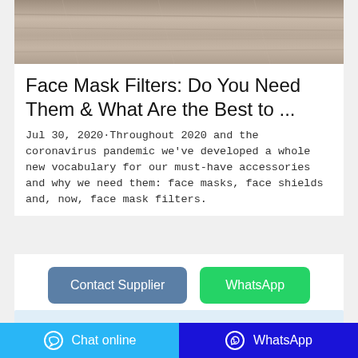[Figure (photo): Partial hero image of a wooden surface or mask-related product, cropped at top]
Face Mask Filters: Do You Need Them & What Are the Best to ...
Jul 30, 2020·Throughout 2020 and the coronavirus pandemic we've developed a whole new vocabulary for our must-have accessories and why we need them: face masks, face shields and, now, face mask filters.
[Figure (screenshot): Contact Supplier and WhatsApp buttons]
[Figure (screenshot): Partial next card in light blue]
Chat online   WhatsApp